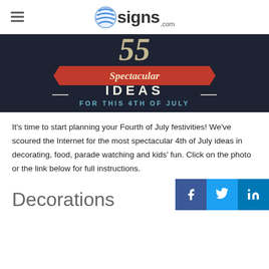signs.com
[Figure (infographic): Dark background banner with '55 Spectacular IDEAS FOR THIS 4TH OF JULY' text in decorative typography with red ribbon element]
It's time to start planning your Fourth of July festivities! We've scoured the Internet for the most spectacular 4th of July ideas in decorating, food, parade watching and kids' fun. Click on the photo or the link below for full instructions.
Decorations